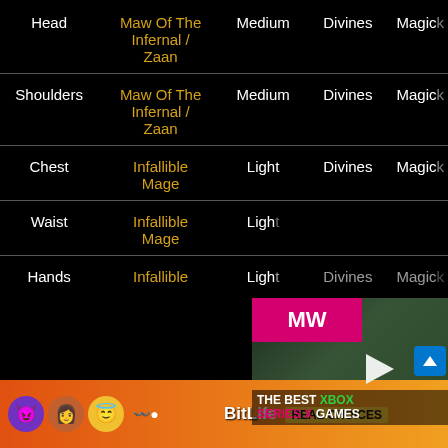| Slot | Item | Type | Bonus | Magic |
| --- | --- | --- | --- | --- |
| Head | Maw Of The Infernal / Zaan | Medium | Divines | Magicka |
| Shoulders | Maw Of The Infernal / Zaan | Medium | Divines | Magicka |
| Chest | Infallible Mage | Light | Divines | Magicka |
| Waist | Infallible Mage | Light | Divines | Magicka |
| Hands | Infallible | Light | Divines | Magicka |
[Figure (screenshot): Video ad overlay: 'The Best Xbox Series X Games' with MW logo and play button]
[Figure (screenshot): Banner ad: BitLife Real Choices with emojis]